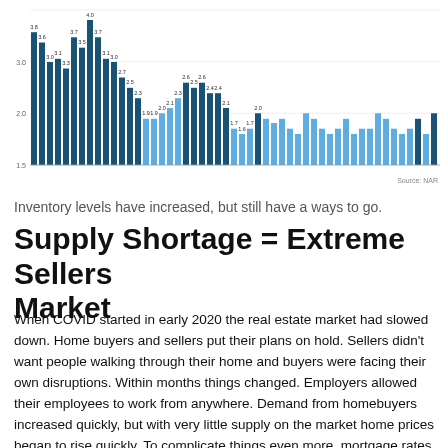[Figure (bar-chart): Months Supply of Inventory]
Inventory levels have increased, but still have a ways to go.
Supply Shortage = Extreme Sellers Market
When COVID started in early 2020 the real estate market had slowed down. Home buyers and sellers put their plans on hold. Sellers didn't want people walking through their home and buyers were facing their own disruptions. Within months things changed. Employers allowed their employees to work from anywhere. Demand from homebuyers increased quickly, but with very little supply on the market home prices began to rise quickly. To complicate things even more, mortgage rates dropped to record levels, making home financing cheap. This is a double-edged sword to some extent for